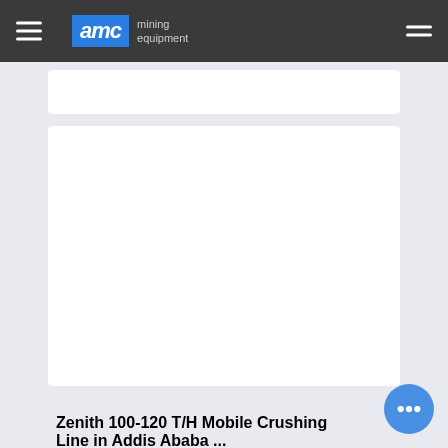AMC mining equipment
[Figure (photo): White content card area (image placeholder) for Zenith 100-120 T/H Mobile Crushing Line product]
Zenith 100-120 T/H Mobile Crushing Line in Addis Ababa ...